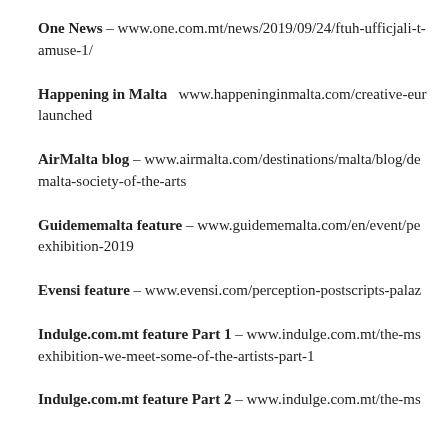One News – www.one.com.mt/news/2019/09/24/ftuh-ufficjali-t-amuse-1/
Happening in Malta  www.happeninginmalta.com/creative-eur-launched
AirMalta blog – www.airmalta.com/destinations/malta/blog/de-malta-society-of-the-arts
Guidememalta feature – www.guidememalta.com/en/event/pe-exhibition-2019
Evensi feature – www.evensi.com/perception-postscripts-palaz
Indulge.com.mt feature Part 1 – www.indulge.com.mt/the-ms-exhibition-we-meet-some-of-the-artists-part-1
Indulge.com.mt feature Part 2 – www.indulge.com.mt/the-ms